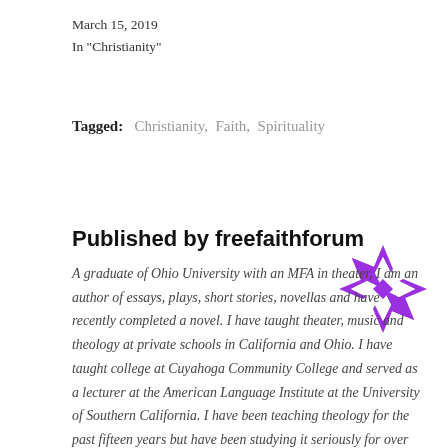March 15, 2019
In "Christianity"
Tagged: Christianity, Faith, Spirituality
Published by freefaithforum
[Figure (logo): Purple geometric snowflake/quilt-pattern logo for freefaithforum]
A graduate of Ohio University with an MFA in theater, I am an author of essays, plays, short stories, novellas and have recently completed a novel. I have taught theater, music and theology at private schools in California and Ohio. I have taught college at Cuyahoga Community College and served as a lecturer at the American Language Institute at the University of Southern California. I have been teaching theology for the past fifteen years but have been studying it seriously for over twenty years.